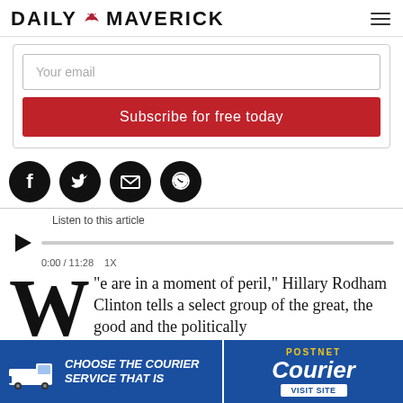DAILY MAVERICK
Your email
Subscribe for free today
[Figure (other): Social share icons: Facebook, Twitter, Email, WhatsApp (black circles)]
Listen to this article
0:00 / 11:28   1X
"e are in a moment of peril," Hillary Rodham Clinton tells a select group of the great, the good and the politically
[Figure (other): PostNet Courier advertisement banner with truck icon, text: CHOOSE THE COURIER SERVICE THAT IS, Courier, VISIT SITE]